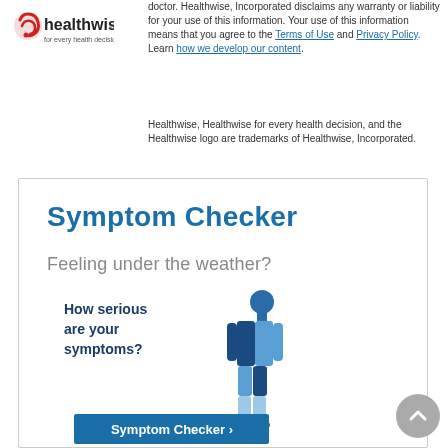[Figure (logo): Healthwise logo with red circular icon and tagline 'for every health decision']
doctor. Healthwise, Incorporated disclaims any warranty or liability for your use of this information. Your use of this information means that you agree to the Terms of Use and Privacy Policy. Learn how we develop our content.
Healthwise, Healthwise for every health decision, and the Healthwise logo are trademarks of Healthwise, Incorporated.
Symptom Checker
Feeling under the weather?
[Figure (illustration): Human body figure with blue shading and text 'How serious are your symptoms?' with a Symptom Checker button below]